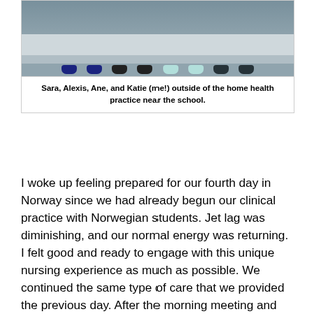[Figure (photo): Photo of four people (Sara, Alexis, Ane, and Katie) standing outside a home health practice near a school, showing their lower bodies/feet on a paved area.]
Sara, Alexis, Ane, and Katie (me!) outside of the home health practice near the school.
I woke up feeling prepared for our fourth day in Norway since we had already begun our clinical practice with Norwegian students. Jet lag was diminishing, and our normal energy was returning. I felt good and ready to engage with this unique nursing experience as much as possible. We continued the same type of care that we provided the previous day. After the morning meeting and changing into our scrubs, our group of 4 split into two and divided and conquered the patient list for the day. The nursing care went something like this: walk to the home, knock on the door, let yourself in (the home practices have keys to each residence), greet the patient, provide care, document in a physical binder kept in the home any medication administrations, other patient information...